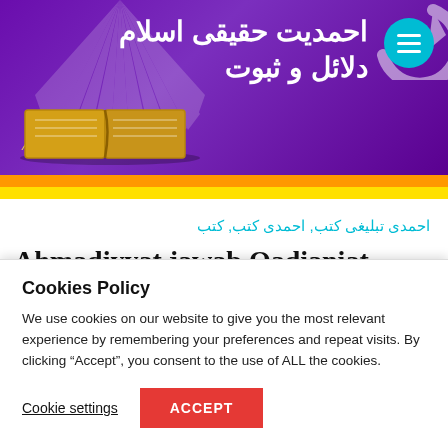[Figure (screenshot): Website header banner with purple gradient background, Arabic title text, decorative sun rays, book image, teal circular hamburger menu button, and curved arrow icon]
احمديت حقيقى اسلام دلائل و ثبوت
Ahmadiyya True Islam
احمدى تبليغى كتب, احمدى كتب, كتب
Ahmadiyyat jawab Qadianiat
احمديت جواب قاديانيت
Cookies Policy
We use cookies on our website to give you the most relevant experience by remembering your preferences and repeat visits. By clicking “Accept”, you consent to the use of ALL the cookies.
Cookie settings
ACCEPT